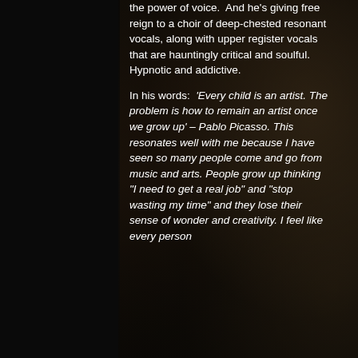the power of voice.  And he's giving free reign to a choir of deep-chested resonant vocals, along with upper register vocals that are hauntingly critical and soulful. Hypnotic and addictive.
In his words:  'Every child is an artist. The problem is how to remain an artist once we grow up' – Pablo Picasso. This resonates well with me because I have seen so many people come and go from music and arts. People grow up thinking "I need to get a real job" and "stop wasting my time" and they lose their sense of wonder and creativity. I feel like every person should have a little child like in this